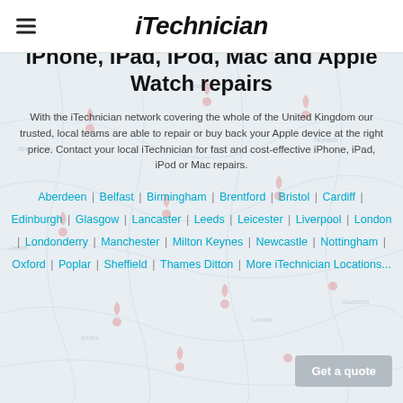iTechnician
Popular locations in the UK for iPhone, iPad, iPod, Mac and Apple Watch repairs
With the iTechnician network covering the whole of the United Kingdom our trusted, local teams are able to repair or buy back your Apple device at the right price. Contact your local iTechnician for fast and cost-effective iPhone, iPad, iPod or Mac repairs.
Aberdeen | Belfast | Birmingham | Brentford | Bristol | Cardiff | Edinburgh | Glasgow | Lancaster | Leeds | Leicester | Liverpool | London | Londonderry | Manchester | Milton Keynes | Newcastle | Nottingham | Oxford | Poplar | Sheffield | Thames Ditton | More iTechnician Locations...
[Figure (map): Faint UK map background with location pin markers]